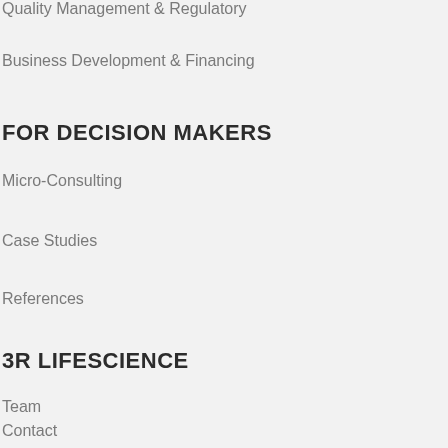Quality Management & Regulatory
Business Development & Financing
FOR DECISION MAKERS
Micro-Consulting
Case Studies
References
3R LIFESCIENCE
Team
Contact